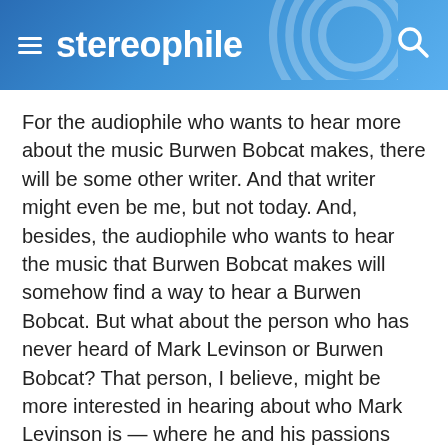stereophile
For the audiophile who wants to hear more about the music Burwen Bobcat makes, there will be some other writer. And that writer might even be me, but not today. And, besides, the audiophile who wants to hear the music that Burwen Bobcat makes will somehow find a way to hear a Burwen Bobcat. But what about the person who has never heard of Mark Levinson or Burwen Bobcat? That person, I believe, might be more interested in hearing about who Mark Levinson is — where he and his passions live, surrounded, as they are, by tigers and women.
And so, I went way out of my way to discuss anything but the music. This was my choice. And